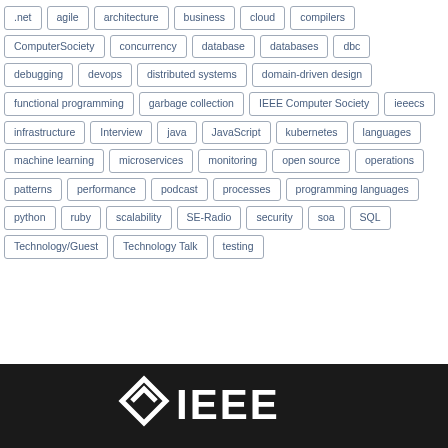.net agile architecture business cloud compilers ComputerSociety concurrency database databases dbc debugging devops distributed systems domain-driven design functional programming garbage collection IEEE Computer Society ieeecs infrastructure Interview java JavaScript kubernetes languages machine learning microservices monitoring open source operations patterns performance podcast processes programming languages python ruby scalability SE-Radio security soa SQL Technology/Guest Technology Talk testing
[Figure (logo): IEEE logo in white on black background at the bottom of the page]